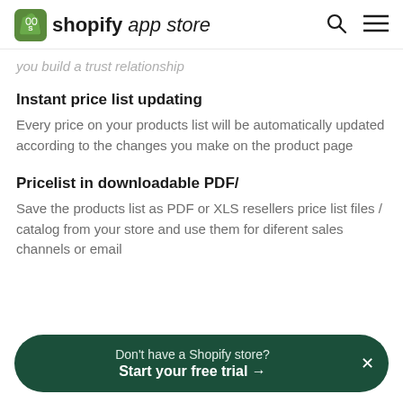shopify app store
you build a trust relationship
Instant price list updating
Every price on your products list will be automatically updated according to the changes you make on the product page
Pricelist in downloadable PDF/
Save the products list as PDF or XLS resellers price list files / catalog from your store and use them for diferent sales channels or email
Don't have a Shopify store? Start your free trial →